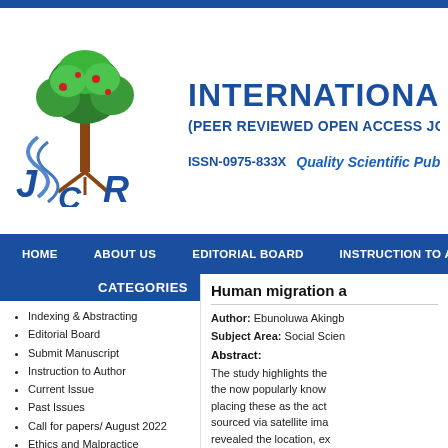[Figure (logo): Journal logo with tree and stylized letters JCR, in green and blue]
INTERNATIONAL JO (truncated)
(PEER REVIEWED OPEN ACCESS JOUR (truncated)
ISSN-0975-833X   Quality Scientific Publishing: Frequency: (truncated)
HOME   ABOUT US   EDITORIAL BOARD   INSTRUCTION TO AUTHO
CATEGORIES
Indexing & Abstracting
Editorial Board
Submit Manuscript
Instruction to Author
Current Issue
Past Issues
Call for papers/ August 2022
Ethics and Malpractice
Conflict of Interest Statement
Human migration a (truncated)
Author: Ebunoluwa Akingb (truncated)
Subject Area: Social Scien (truncated)
Abstract:
The study highlights the now popularly know placing these as the act sourced via satellite ima revealed the location, ex